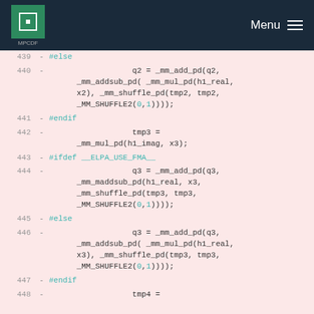[Figure (screenshot): MPCDF navigation bar with green logo and Menu button on dark navy background]
Code diff view showing lines 439-448 of C/C++ source code with preprocessor directives and SSE intrinsics on pink background